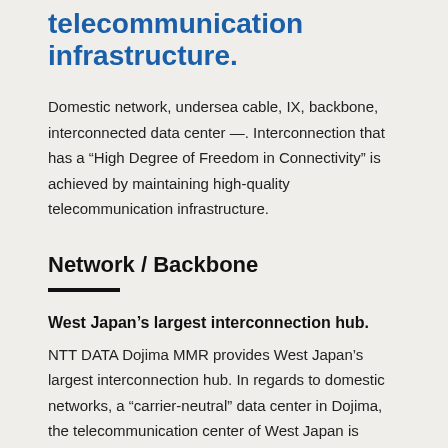telecommunication infrastructure.
Domestic network, undersea cable, IX, backbone, interconnected data center —. Interconnection that has a “High Degree of Freedom in Connectivity” is achieved by maintaining high-quality telecommunication infrastructure.
Network / Backbone
West Japan’s largest interconnection hub.
NTT DATA Dojima MMR provides West Japan’s largest interconnection hub. In regards to domestic networks, a “carrier-neutral” data center in Dojima, the telecommunication center of West Japan is provided. Supporting not only the network connection between Tokyo and Osaka, but long-distance network connec “multiple carriers” and “multiple connection paths” are supported. In